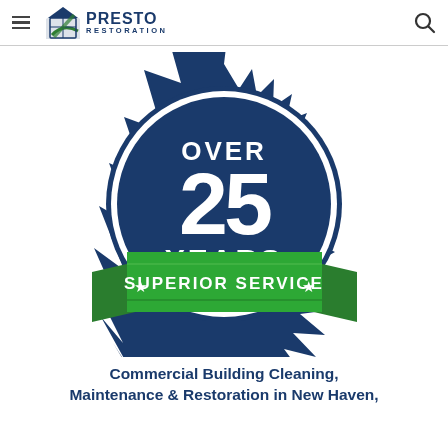Presto Restoration
[Figure (logo): Over 25 Years Superior Service badge/seal logo with dark blue starburst background, white circular border, large white text '25' with 'OVER' above and 'YEARS' below, and a green ribbon banner at the bottom reading '★ SUPERIOR SERVICE ★']
Commercial Building Cleaning, Maintenance & Restoration in New Haven,